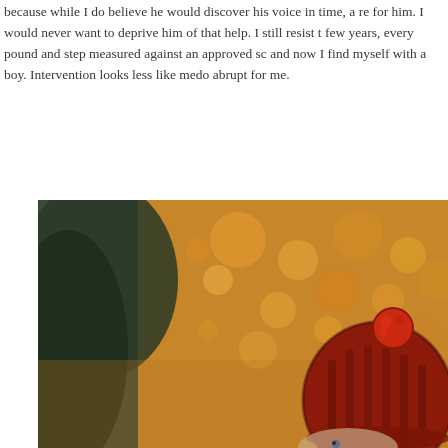because while I do believe he would discover his voice in time, a re for him. I would never want to deprive him of that help. I still resist t few years, every pound and step measured against an approved sc and now I find myself with a boy. Intervention looks less like medo abrupt for me.
[Figure (photo): A young child wearing a red knitted bobble hat, photographed outdoors with a blurred bokeh background of autumn orange and green foliage.]